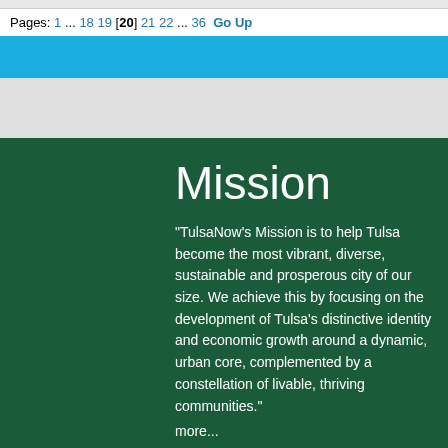Pages: 1 ... 18 19 [20] 21 22 ... 36  Go Up
Mission
"TulsaNow's Mission is to help Tulsa become the most vibrant, diverse, sustainable and prosperous city of our size. We achieve this by focusing on the development of Tulsa's distinctive identity and economic growth around a dynamic, urban core, complemented by a constellation of livable, thriving communities."
more...